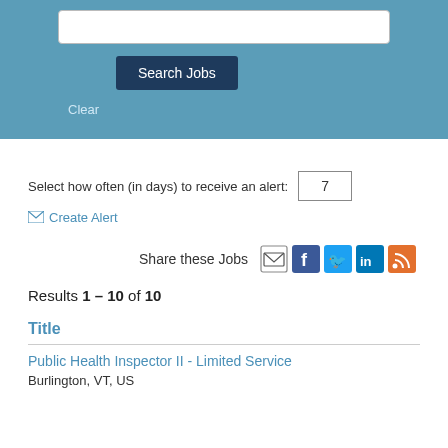[Figure (screenshot): Search input field (white rectangle)]
Search Jobs
Clear
Select how often (in days) to receive an alert: 7
✉ Create Alert
Share these Jobs
Results 1 – 10 of 10
Title
Public Health Inspector II - Limited Service
Burlington, VT, US